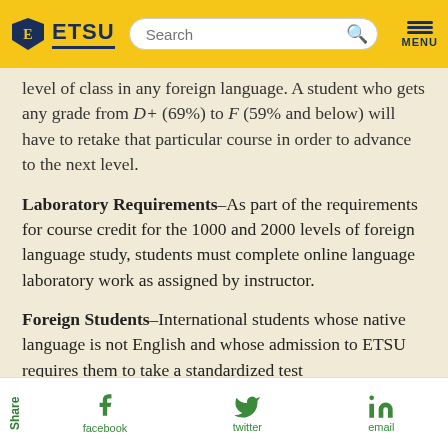ETSU | Search | MENU
level of class in any foreign language. A student who gets any grade from D+ (69%) to F (59% and below) will have to retake that particular course in order to advance to the next level.
Laboratory Requirements–As part of the requirements for course credit for the 1000 and 2000 levels of foreign language study, students must complete online language laboratory work as assigned by instructor.
Foreign Students–International students whose native language is not English and whose admission to ETSU requires them to take a standardized test
Share | facebook | twitter | email